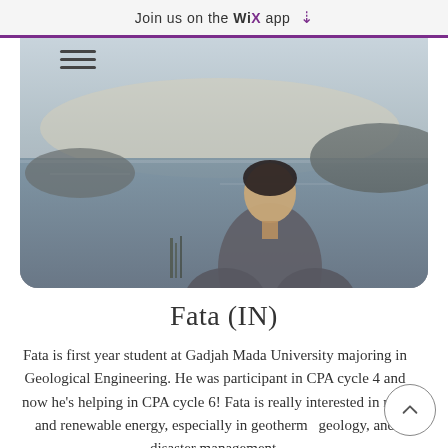Join us on the WiX app ↓
[Figure (photo): Screenshot of a mobile app/website showing a hamburger menu icon and a profile photo of a young man standing outdoors near water with hills in the background, wearing a grey outfit.]
Fata (IN)
Fata is first year student at Gadjah Mada University majoring in Geological Engineering. He was participant in CPA cycle 4 and now he's helping in CPA cycle 6! Fata is really interested in new and renewable energy, especially in geothermal geology, and disaster management.